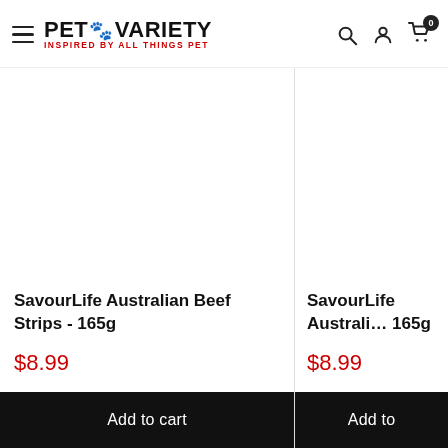PET VARIETY - INSPIRED BY ALL THINGS PET
SavourLife Australian Beef Strips - 165g
$8.99
Add to cart
SavourLife Australi... 165g
$8.99
Add to